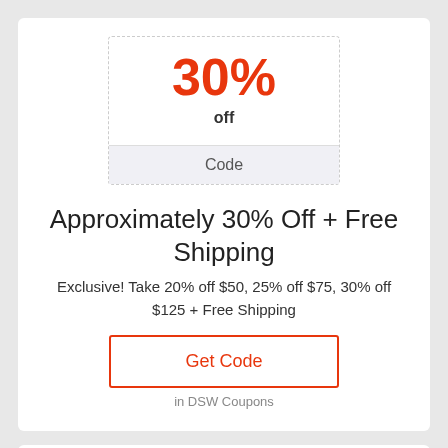30%
off
Code
Approximately 30% Off + Free Shipping
Exclusive! Take 20% off $50, 25% off $75, 30% off $125 + Free Shipping
Get Code
in DSW Coupons
30%